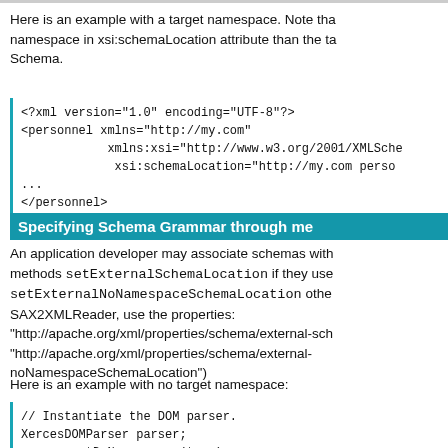Here is an example with a target namespace. Note that the namespace in xsi:schemaLocation attribute than the target Schema.
<?xml version="1.0" encoding="UTF-8"?>
<personnel xmlns="http://my.com"
           xmlns:xsi="http://www.w3.org/2001/XMLSche
            xsi:schemaLocation="http://my.com perso
...
</personnel>
Specifying Schema Grammar through me
An application developer may associate schemas with methods setExternalSchemaLocation if they use setExternalNoNamespaceSchemaLocation other SAX2XMLReader, use the properties: "http://apache.org/xml/properties/schema/external-sch "http://apache.org/xml/properties/schema/external-noNamespaceSchemaLocation")
Here is an example with no target namespace:
// Instantiate the DOM parser.
XercesDOMParser parser;
parser.setDoNamespaces(true);
parser.setDoSchema(true);
parser.setExternalNoNamespaceSchemaLocation("perso
parser.parse("test.xml");

// Instantiate the SAX2 XMLReader.